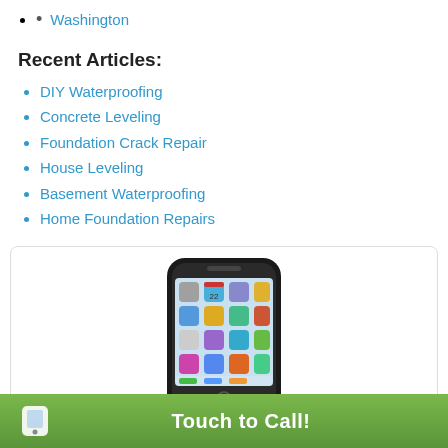Washington
Recent Articles:
DIY Waterproofing
Concrete Leveling
Foundation Crack Repair
House Leveling
Basement Waterproofing
Home Foundation Repairs
[Figure (illustration): Smartphone (iPhone-style) displayed in a white rounded-corner box, showing a home screen with app icons]
Touch to Call!